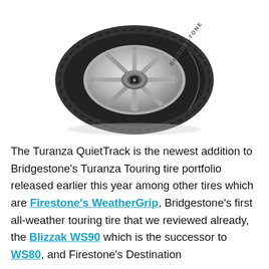[Figure (photo): A Bridgestone Turanza QuietTrack tire mounted on a silver multi-spoke alloy wheel, photographed at an angle on a white background.]
The Turanza QuietTrack is the newest addition to Bridgestone's Turanza Touring tire portfolio released earlier this year among other tires which are Firestone's WeatherGrip, Bridgestone's first all-weather touring tire that we reviewed already, the Blizzak WS90 which is the successor to WS80, and Firestone's Destination XT and Destination AT, which have also been released.